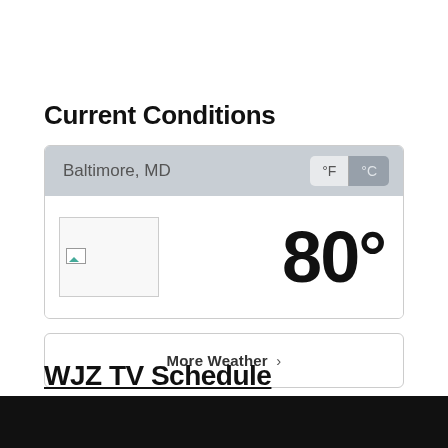Current Conditions
Baltimore, MD
°F °C
[Figure (other): Broken image placeholder for weather icon]
80°
More Weather ›
WJZ TV Schedule